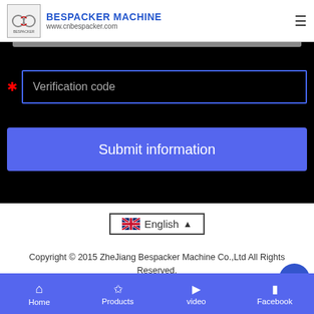BESPACKER MACHINE www.cnbespacker.com
[Figure (screenshot): Website form area on black background with a verification code input field and a Submit information button]
[Figure (screenshot): Language selector showing English with UK flag and dropdown arrow inside a bordered box]
Copyright © 2015 ZheJiang Bespacker Machine Co.,Ltd All Rights Reserved.
鄂ICP备20200430424-2
Home  Products  video  Facebook